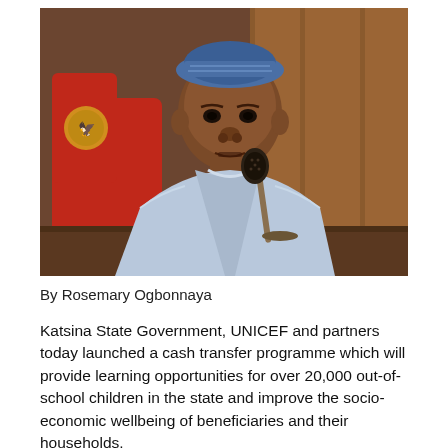[Figure (photo): A man wearing a blue traditional Nigerian outfit and a blue embroidered cap sits at a desk with a microphone in front of him. He is seated in a red chair with an official emblem visible. The background shows wooden panels.]
By Rosemary Ogbonnaya
Katsina State Government, UNICEF and partners today launched a cash transfer programme which will provide learning opportunities for over 20,000 out-of-school children in the state and improve the socio-economic wellbeing of beneficiaries and their households.